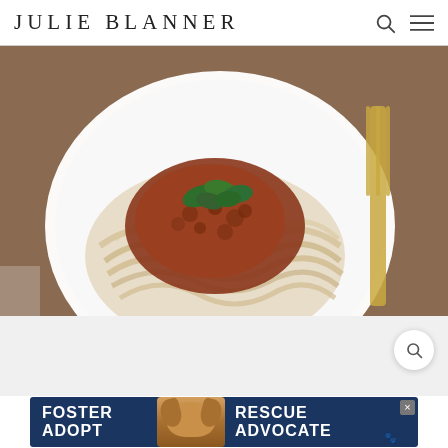JULIE BLANNER
[Figure (photo): A white plate of fettuccine pasta topped with bolognese meat sauce and fresh basil, on a wooden table with a gold fork to the right.]
[Figure (screenshot): White/light gray content area below the food photo with a circular search icon button in the upper right.]
[Figure (photo): Advertisement banner with dark blue background showing 'FOSTER ADOPT' on the left, a beagle dog photo in center, and 'RESCUE ADVOCATE' on the right, with a close button.]